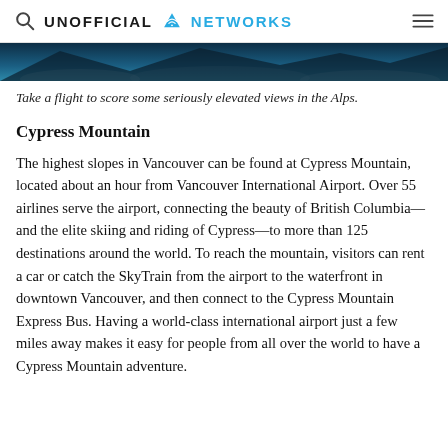UNOFFICIAL NETWORKS
[Figure (photo): Partial view of an aerial/mountain scene, cropped at top — blue and dark tones suggesting alpine landscape.]
Take a flight to score some seriously elevated views in the Alps.
Cypress Mountain
The highest slopes in Vancouver can be found at Cypress Mountain, located about an hour from Vancouver International Airport. Over 55 airlines serve the airport, connecting the beauty of British Columbia—and the elite skiing and riding of Cypress—to more than 125 destinations around the world. To reach the mountain, visitors can rent a car or catch the SkyTrain from the airport to the waterfront in downtown Vancouver, and then connect to the Cypress Mountain Express Bus. Having a world-class international airport just a few miles away makes it easy for people from all over the world to have a Cypress Mountain adventure.